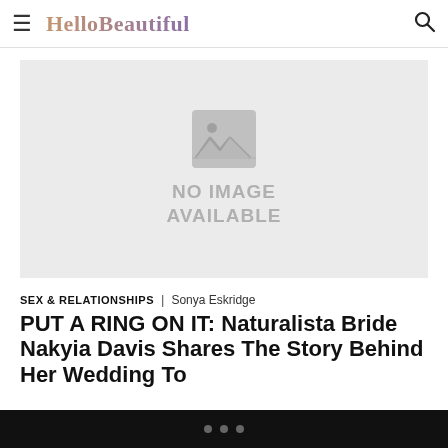HelloBeautiful
[Figure (photo): No image available placeholder with broken image icon]
SEX & RELATIONSHIPS | Sonya Eskridge
PUT A RING ON IT: Naturalista Bride Nakyia Davis Shares The Story Behind Her Wedding To